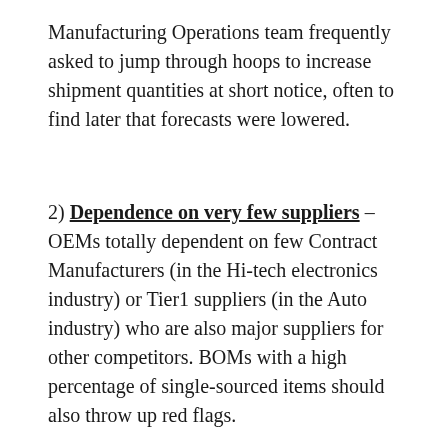Manufacturing Operations team frequently asked to jump through hoops to increase shipment quantities at short notice, often to find later that forecasts were lowered.
2) Dependence on very few suppliers – OEMs totally dependent on few Contract Manufacturers (in the Hi-tech electronics industry) or Tier1 suppliers (in the Auto industry) who are also major suppliers for other competitors. BOMs with a high percentage of single-sourced items should also throw up red flags.